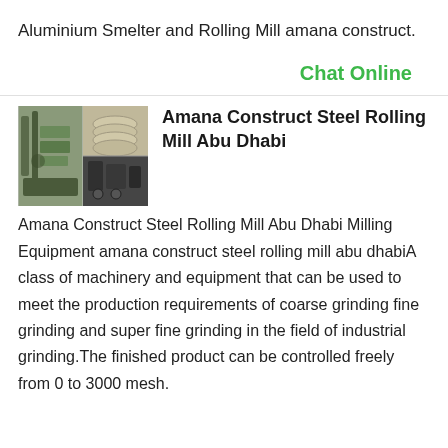Aluminium Smelter and Rolling Mill amana construct.
Chat Online
[Figure (photo): Two-panel thumbnail image showing industrial equipment: left panel shows machinery/pipes, right panel split into top (circular metallic components) and bottom (darker industrial setting)]
Amana Construct Steel Rolling Mill Abu Dhabi
Amana Construct Steel Rolling Mill Abu Dhabi Milling Equipment amana construct steel rolling mill abu dhabiA class of machinery and equipment that can be used to meet the production requirements of coarse grinding fine grinding and super fine grinding in the field of industrial grinding.The finished product can be controlled freely from 0 to 3000 mesh.